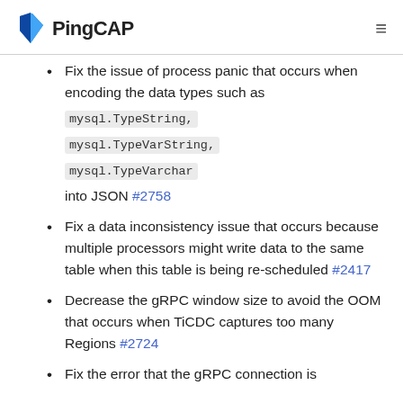PingCAP
Fix the issue of process panic that occurs when encoding the data types such as mysql.TypeString, mysql.TypeVarString, mysql.TypeVarchar into JSON #2758
Fix a data inconsistency issue that occurs because multiple processors might write data to the same table when this table is being re-scheduled #2417
Decrease the gRPC window size to avoid the OOM that occurs when TiCDC captures too many Regions #2724
Fix the error that the gRPC connection is...